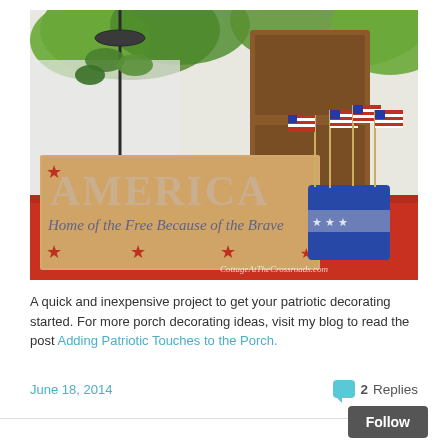[Figure (photo): Patriotic outdoor porch decoration: a wooden sign reading 'AMERICA, Home of the Free Because of the Brave' with red stars, next to a blue bucket filled with small American flags, on a red table with plants and wooden furniture in the background. Watermark: CottageAtTheCrossroads.com]
A quick and inexpensive project to get your patriotic decorating started. For more porch decorating ideas, visit my blog to read the post Adding Patriotic Touches to the Porch.
June 18, 2014
2 Replies
Follow